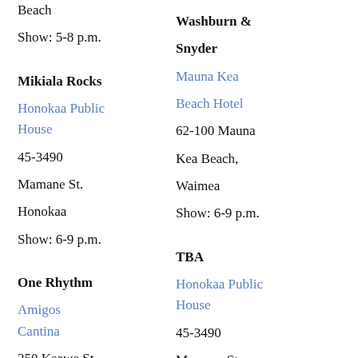Beach
Show: 5-8 p.m.
Mikiala Rocks
Honokaa Public House
45-3490
Mamane St.
Honokaa
Show: 6-9 p.m.
One Rhythm
Amigos Cantina
250 Keawe St.
Washburn & Snyder
Mauna Kea Beach Hotel
62-100 Mauna Kea Beach, Waimea
Show: 6-9 p.m.
TBA
Honokaa Public House
45-3490
Mamane St.